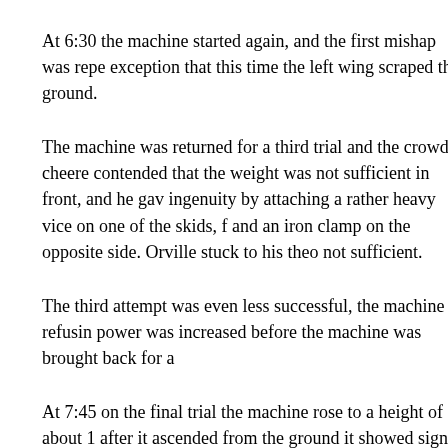At 6:30 the machine started again, and the first mishap was repeated with the exception that this time the left wing scraped the ground.
The machine was returned for a third trial and the crowd cheered. Someone contended that the weight was not sufficient in front, and he gave proof of his ingenuity by attaching a rather heavy vice on one of the skids, front end, and an iron clamp on the opposite side. Orville stuck to his theory that it was not sufficient.
The third attempt was even less successful, the machine refusing to go. The power was increased before the machine was brought back for a
At 7:45 on the final trial the machine rose to a height of about 1 after it ascended from the ground it showed signs of losing head on around the field, remaining in the air about 50 seconds and l immediately in front of the starting track. As he stepped out he "from the machine and he was resting. Charlie. The m